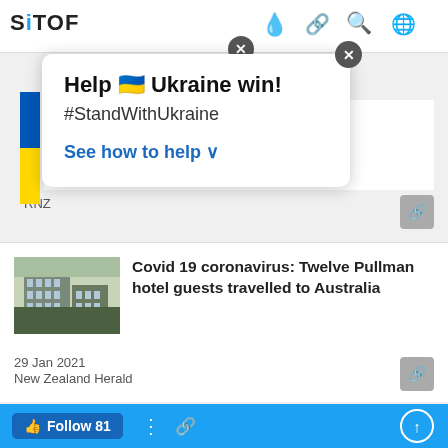SIOTOF
[Figure (screenshot): Ukraine support popup overlay with flag, 'Help Ukraine win!', '#StandWithUkraine', 'See how to help' CTA and close button]
ommunity cases of Covid-19
RNZ
Covid 19 coronavirus: Twelve Pullman hotel guests travelled to Australia
29 Jan 2021
New Zealand Herald
Covid-19 coronavirus: Nervous wait for tests ahead of long weekends
Follow 81